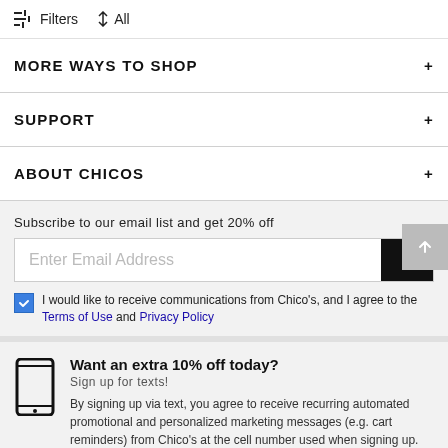Filters  ↑↓ All
MORE WAYS TO SHOP +
SUPPORT +
ABOUT CHICOS +
Subscribe to our email list and get 20% off
Enter Email Address
I would like to receive communications from Chico's, and I agree to the Terms of Use and Privacy Policy
Want an extra 10% off today? Sign up for texts! By signing up via text, you agree to receive recurring automated promotional and personalized marketing messages (e.g. cart reminders) from Chico's at the cell number used when signing up.